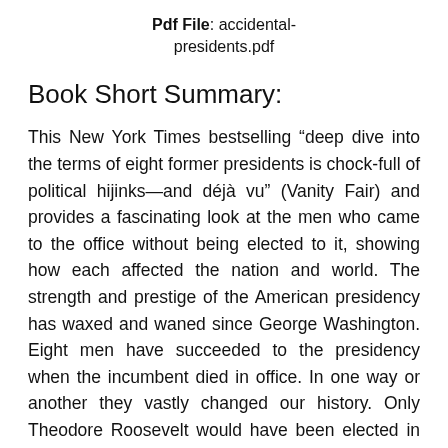Pdf File: accidental-presidents.pdf
Book Short Summary:
This New York Times bestselling “deep dive into the terms of eight former presidents is chock-full of political hijinks—and déjà vu” (Vanity Fair) and provides a fascinating look at the men who came to the office without being elected to it, showing how each affected the nation and world. The strength and prestige of the American presidency has waxed and waned since George Washington. Eight men have succeeded to the presidency when the incumbent died in office. In one way or another they vastly changed our history. Only Theodore Roosevelt would have been elected in his own